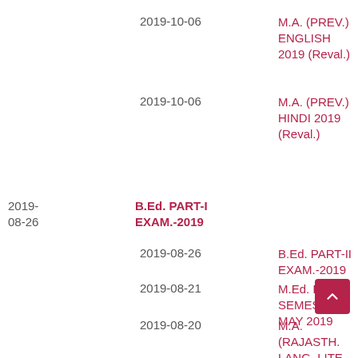2019-10-06
M.A. (PREV.) ENGLISH 2019 (Reval.)
2019-10-06
M.A. (PREV.) HINDI 2019 (Reval.)
2019-08-26  B.Ed. PART-I EXAM.-2019
2019-08-26
B.Ed. PART-II EXAM.-2019
2019-08-21
M.Ed. II SEMESTER MAY 2019
2019-08-20
M.A. (RAJASTH. LANG. LITE. AND CULTURE) II-